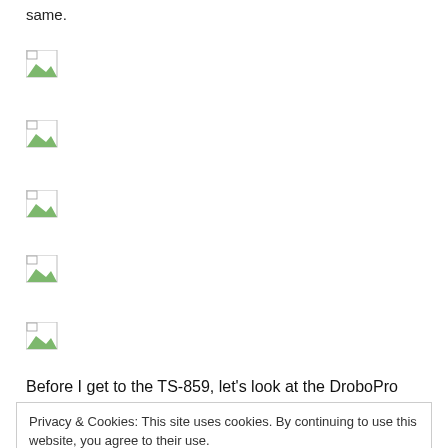same.
[Figure (other): Broken/missing image placeholder 1]
[Figure (other): Broken/missing image placeholder 2]
[Figure (other): Broken/missing image placeholder 3]
[Figure (other): Broken/missing image placeholder 4]
[Figure (other): Broken/missing image placeholder 5]
Before I get to the TS-859, let’s look at the DroboPro
Privacy & Cookies: This site uses cookies. By continuing to use this website, you agree to their use.
To find out more, including how to control cookies, see here: Cookie Policy
Close and accept
ck